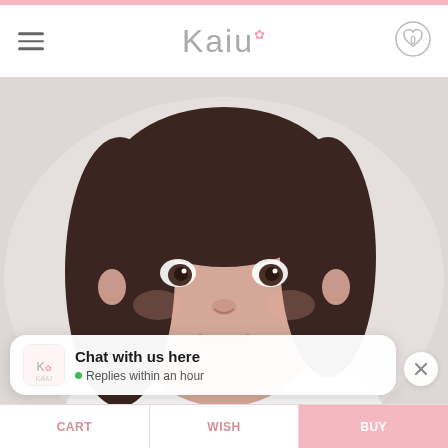Kaiu — mobile app header with hamburger menu and heart/wishlist icon showing 0
[Figure (photo): Close-up portrait of a young girl with dark straight hair, smiling gently against a soft pinkish-grey background. She appears to be a child model for the Kaiu kids clothing brand.]
Chat with us here
• Replies within an hour
CART    WISH    BUY